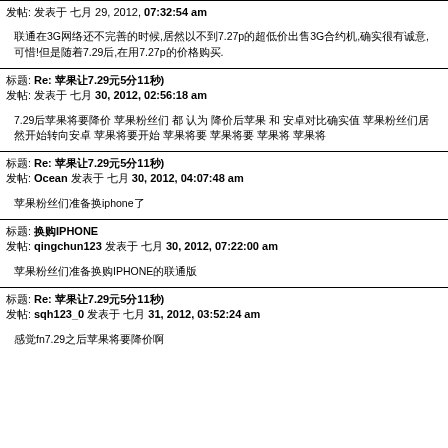发帖: 发表于 七月 29, 2012, 07:32:54 am
联通在3G网络还不完善的时候,居然以不到7.27p的超低价出售3G合约机,确实很有诚意,可惜!但是随着7.29后,在用7.27p的价格购买.
标题: Re: 苹果让7.29元5分11秒)
发帖: 发表于 七月 30, 2012, 02:56:18 am
7.29后苹果将要降价 苹果粉丝们 都 认为 降价后苹果 和 安卓对比确实值 苹果粉丝们居然开始转向安卓  苹果将要开始 苹果将要 苹果将要 苹果将 苹果将
标题: Re: 苹果让7.29元5分11秒)
发帖: Ocean 发表于 七月 30, 2012, 04:07:48 am
苹果粉丝们准备换iphone了
标题: 换购IPHONE
发帖: qingchun123 发表于 七月 30, 2012, 07:22:00 am
苹果粉丝们准备换购IPHONE的联通版
标题: Re: 苹果让7.29元5分11秒)
发帖: sqh123_0 发表于 七月 31, 2012, 03:52:24 am
感觉fn7.29之后苹果将要降价啊